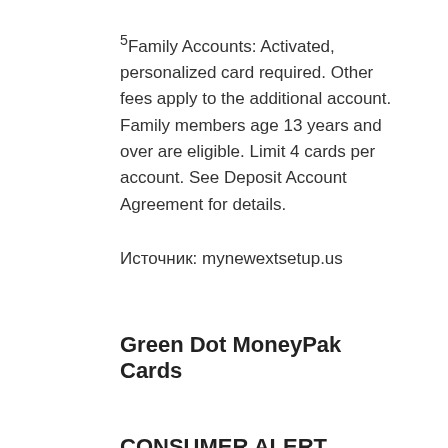5Family Accounts: Activated, personalized card required. Other fees apply to the additional account. Family members age 13 years and over are eligible. Limit 4 cards per account. See Deposit Account Agreement for details.
Источник: mynewextsetup.us
Green Dot MoneyPak Cards
CONSUMER ALERT